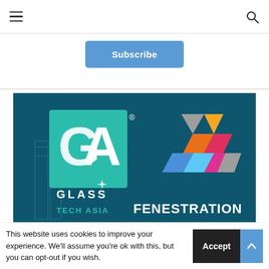[Figure (screenshot): Website navigation bar with hamburger menu icon on left and search icon on right]
[Figure (other): Blue Subscribe button centered below nav bar]
[Figure (logo): Banner image with GA Glass Tech Asia logo and Fenestration colorful geometric logo on dark teal background]
This website uses cookies to improve your experience. We'll assume you're ok with this, but you can opt-out if you wish.